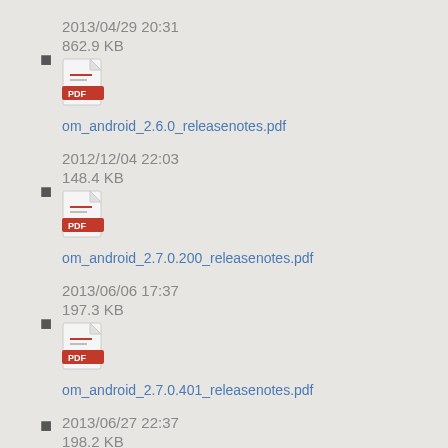2013/04/29 20:31
862.9 KB
om_android_2.6.0_releasenotes.pdf
2012/12/04 22:03
148.4 KB
om_android_2.7.0.200_releasenotes.pdf
2013/06/06 17:37
197.3 KB
om_android_2.7.0.401_releasenotes.pdf
2013/06/27 22:37
198.2 KB